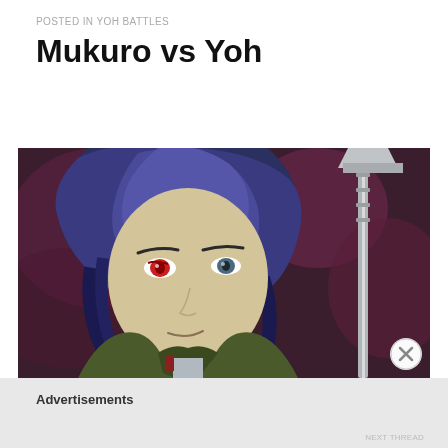POSTED IN YOH BATTLES
Mukuro vs Yoh
[Figure (illustration): Anime screenshot of a male character with dark blue hair, pale skin, and a red eye marking, wearing an olive/dark green jacket. A metallic pole or weapon is visible on the right side. The background is dark reddish-purple.]
Advertisements